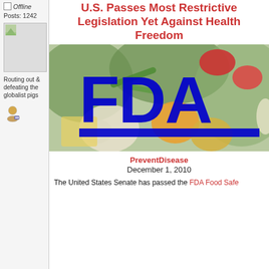Offline
Posts: 1242
[Figure (photo): User avatar placeholder image]
Routing out & defeating the globalist pigs
[Figure (illustration): User profile icon]
U.S. Passes Most Restrictive Legislation Yet Against Health Freedom
[Figure (photo): Photo of colorful vegetables (peppers, green beans, cauliflower, tomatoes) with large blue FDA logo overlay]
PreventDisease
December 1, 2010
The United States Senate has passed the FDA Food Safe Modernization Act (FSMA) and the new law gives FDA...